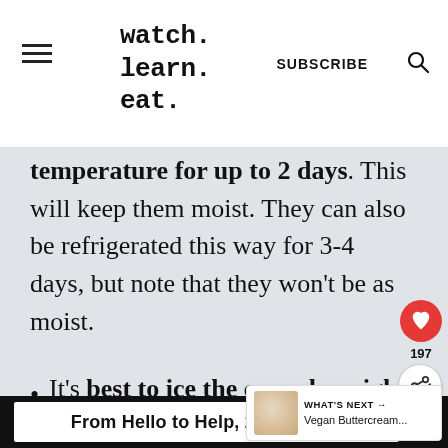watch. learn. eat.  SUBSCRIBE
temperature for up to 2 days. This will keep them moist. They can also be refrigerated this way for 3-4 days, but note that they won't be as moist.
It's best to ice the cupcakes right before
From Hello to Help, 211 is Here